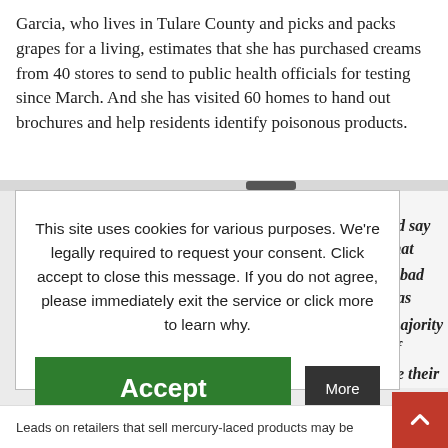Garcia, who lives in Tulare County and picks and packs grapes for a living, estimates that she has purchased creams from 40 stores to send to public health officials for testing since March. And she has visited 60 homes to hand out brochures and help residents identify poisonous products.
[Figure (screenshot): Cookie consent modal overlay on a news article webpage. Modal box with white background contains text: 'This site uses cookies for various purposes. We're legally required to request your consent. Click accept to close this message. If you do not agree, please immediately exit the service or click more to learn why.' Below the text are two buttons: a large green 'Accept' button and a smaller dark 'More' button. Behind the modal, partially visible italic bold text reads fragments: 'nd say that', 'g bad has', 'majority of', 'ne their'. At the bottom of the page a partial sentence reads 'Leads on retailers that sell mercury-laced products may be'. A red scroll-to-top button with an up arrow appears at the bottom right.]
Leads on retailers that sell mercury-laced products may be